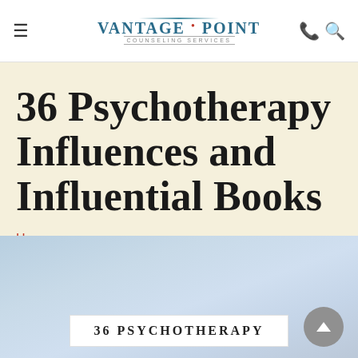Vantage Point Counseling Services
36 Psychotherapy Influences and Influential Books
Homepage
[Figure (photo): Light blue gradient background with a white box overlay reading '36 PSYCHOTHERAPY' in bold uppercase letters, and a gray circular scroll-to-top button in the bottom right corner.]